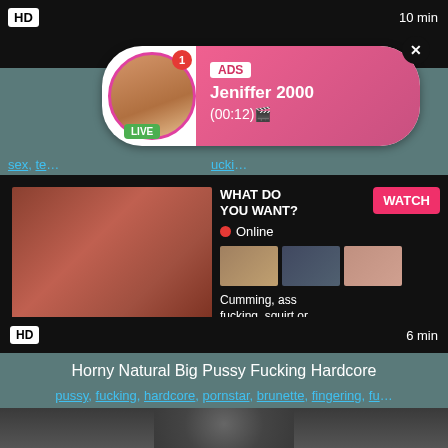[Figure (screenshot): Video thumbnail top block with HD badge and 10 min duration on dark background]
[Figure (screenshot): Ad popup overlay showing Jeniffer 2000 live cam advertisement with profile photo, LIVE badge, ADS label, name, time (00:12), pink gradient background, and close button]
sex, te... ucki...
[Figure (screenshot): Second video block showing adult content thumbnail with overlay ad panel: WHAT DO YOU WANT? WATCH button, Online indicator, three mini thumbnails, text Cumming, ass fucking, squirt or..., ADS label. HD badge and 6 min duration at bottom.]
Horny Natural Big Pussy Fucking Hardcore
pussy, fucking, hardcore, pornstar, brunette, fingering, fu...
[Figure (screenshot): Bottom video thumbnail showing partial image of person]